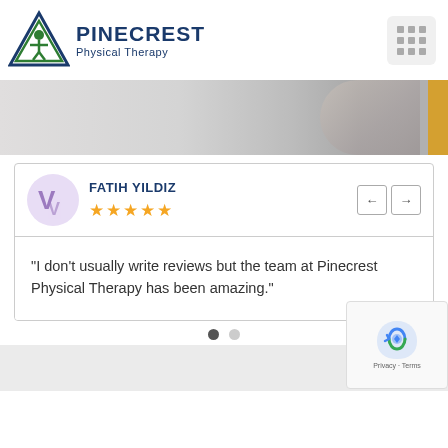[Figure (logo): Pinecrest Physical Therapy logo with triangle and person figure in green and navy blue]
[Figure (photo): Banner photo showing a person in a white coat, medical/therapy context, with gold accent bar on right]
FATIH YILDIZ
★★★★★
"I don't usually write reviews but the team at Pinecrest Physical Therapy has been amazing."
Privacy · Terms